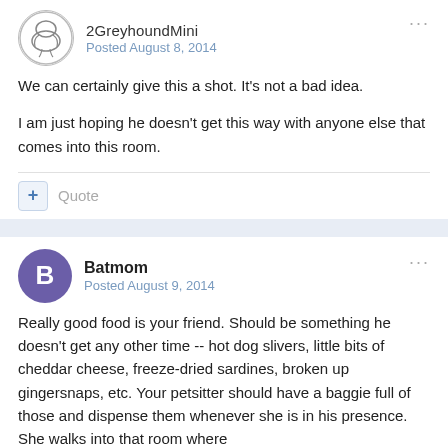2GreyhoundMini — Posted August 8, 2014
We can certainly give this a shot. It's not a bad idea.
I am just hoping he doesn't get this way with anyone else that comes into this room.
+ Quote
Batmom — Posted August 9, 2014
Really good food is your friend. Should be something he doesn't get any other time -- hot dog slivers, little bits of cheddar cheese, freeze-dried sardines, broken up gingersnaps, etc. Your petsitter should have a baggie full of those and dispense them whenever she is in his presence. She walks into that room where